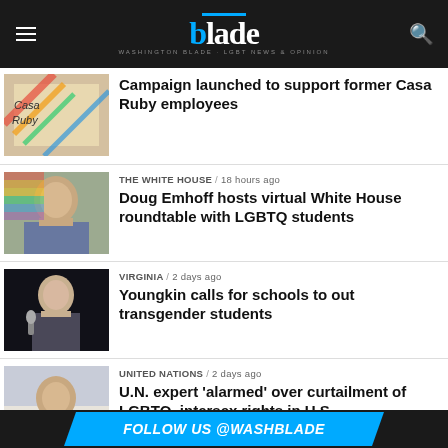blade — Washington Blade
Campaign launched to support former Casa Ruby employees
THE WHITE HOUSE / 18 hours ago
Doug Emhoff hosts virtual White House roundtable with LGBTQ students
VIRGINIA / 2 days ago
Youngkin calls for schools to out transgender students
UNITED NATIONS / 2 days ago
U.N. expert 'alarmed' over curtailment of LGBTQ, intersex rights in U.S.
FOLLOW US @WASHBLADE